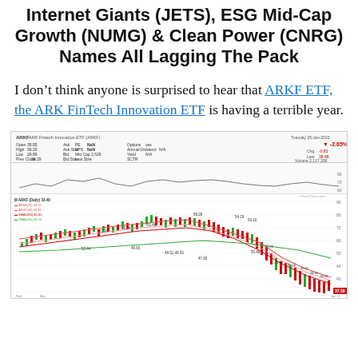Internet Giants (JETS), ESG Mid-Cap Growth (NUMG) & Clean Power (CNRG) Names All Lagging The Pack
I don't think anyone is surprised to hear that ARKF ETF, the ARK FinTech Innovation ETF is having a terrible year.
[Figure (continuous-plot): Stock chart of ARKF (ARK Fintech Innovation ETF, ARKF) showing price history with moving averages. The chart shows a peak around $58-59 and a significant decline to approximately $37.59. Includes candlestick/OHLC data with red and green bars, multiple moving average lines (red, green, blue), and a smaller RSI or volume indicator panel at top. Date shown: Tuesday 25-Jan-2022. Last price shown: 37.59, change -2.65%.]